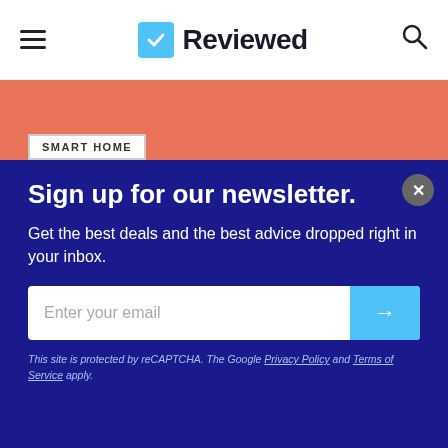Reviewed
SMART HOME
Sign up for our newsletter.
Get the best deals and the best advice dropped right in your inbox.
Enter your email
This site is protected by reCAPTCHA. The Google Privacy Policy and Terms of Service apply.